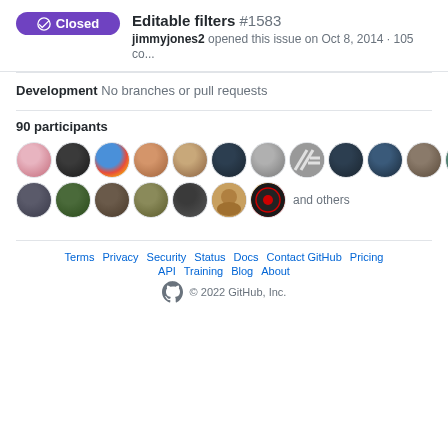Editable filters #1583
jimmyjones2 opened this issue on Oct 8, 2014 · 105 co...
Development
No branches or pull requests
90 participants
[Figure (photo): Grid of 19 circular user avatar photos plus a 404 avatar badge and 'and others' text, showing 90 participants]
Terms · Privacy · Security · Status · Docs · Contact GitHub · Pricing · API · Training · Blog · About · © 2022 GitHub, Inc.